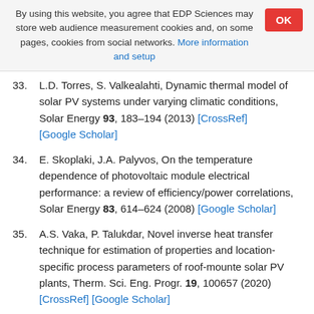By using this website, you agree that EDP Sciences may store web audience measurement cookies and, on some pages, cookies from social networks. More information and setup
33. L.D. Torres, S. Valkealahti, Dynamic thermal model of solar PV systems under varying climatic conditions, Solar Energy 93, 183–194 (2013) [CrossRef] [Google Scholar]
34. E. Skoplaki, J.A. Palyvos, On the temperature dependence of photovoltaic module electrical performance: a review of efficiency/power correlations, Solar Energy 83, 614–624 (2008) [Google Scholar]
35. A.S. Vaka, P. Talukdar, Novel inverse heat transfer technique for estimation of properties and location-specific process parameters of roof-mounte solar PV plants, Therm. Sci. Eng. Progr. 19, 100657 (2020) [CrossRef] [Google Scholar]